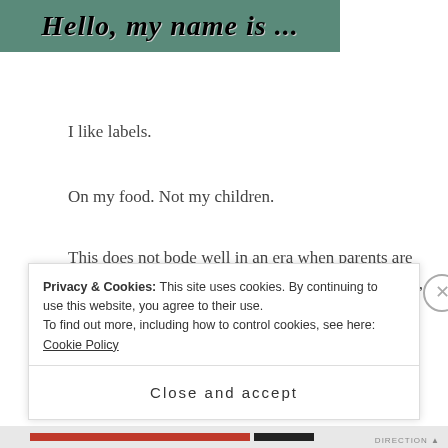[Figure (photo): Image showing text 'Hello, my name is ...' on a teal/green background in bold italic serif font]
I like labels.
On my food. Not my children.
This does not bode well in an era when parents are finding the need to establish their children as a jock, brain, budding artist, chess champion—you name it—at an increasingly early age.
I talk to a lot of parents, partly because I'm a journalist,
Privacy & Cookies: This site uses cookies. By continuing to use this website, you agree to their use.
To find out more, including how to control cookies, see here: Cookie Policy
Close and accept